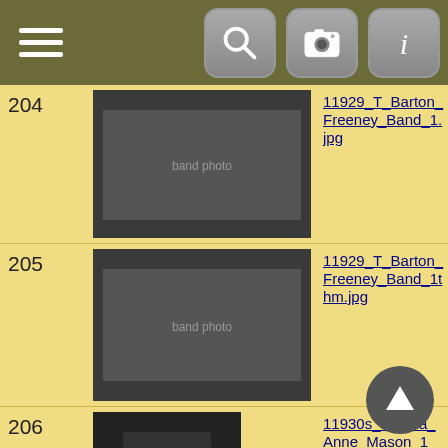Navigation bar with hamburger menu, search, camera, and info icons
| # | Thumbnail | Filename |
| --- | --- | --- |
| 204 | [band photo thumbnail] | 11929_T_Barton_Freeney_Band_1.jpg |
| 205 | [band photo thumbnail] | 11929_T_Barton_Freeney_Band_1thm.jpg |
| 206 | [child portrait thumbnail] | 11930s_Martha_Anne_Mason_1_and_one_half_y... |
| 207 | [child portrait thumbnail] | 11930s_Martha_Anne_Mason_1_and_one_half_y... |
| 208 | [portrait thumbnail] | 11930s_Martha_Anne_Mason_6_months.jpg |